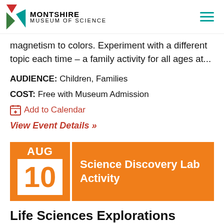MONTSHIRE MUSEUM OF SCIENCE
magnetism to colors. Experiment with a different topic each time – a family activity for all ages at...
AUDIENCE: Children, Families
COST: Free with Museum Admission
Add to Calendar
View Event Details »
[Figure (infographic): Event card for AUG 10 Science Discovery Lab Activity with orange background date block and title block]
Life Sciences Explorations